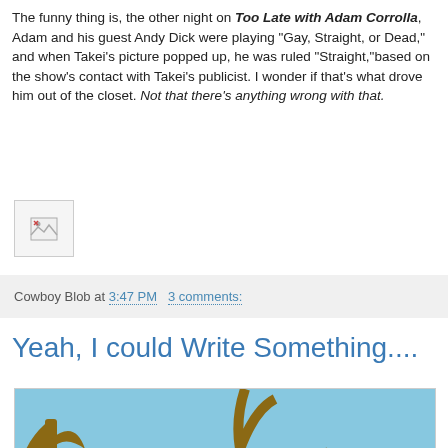The funny thing is, the other night on Too Late with Adam Corrolla, Adam and his guest Andy Dick were playing "Gay, Straight, or Dead," and when Takei's picture popped up, he was ruled "Straight,"based on the show's contact with Takei's publicist. I wonder if that's what drove him out of the closet. Not that there's anything wrong with that.
[Figure (photo): Broken image placeholder icon]
Cowboy Blob at 3:47 PM   3 comments:
Yeah, I could Write Something....
[Figure (illustration): Cartoon illustration showing stylized alien/creature characters including a yellow boxy creature with big eyes, a small human figure, and abstract plant/tree shapes against a blue sky background]